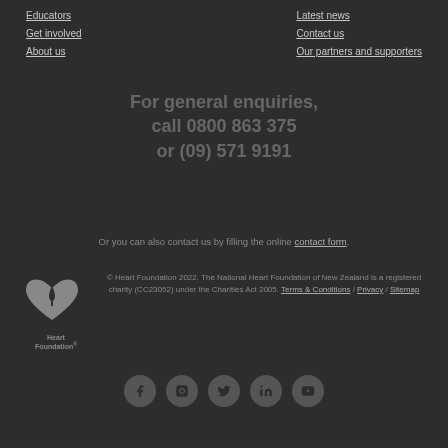Educators
Get involved
About us
Latest news
Contact us
Our partners and supporters
For general enquiries, call 0800 863 375 or (09) 571 9191
Or you can also contact us by filling the online contact form.
[Figure (logo): Heart Foundation logo — stylised heart with a candle flame icon, text 'Heart Foundation']
© Heart Foundation 2022. The National Heart Foundation of New Zealand is a registered charity (CC23052) under the Charities Act 2005. Terms & Conditions / Privacy / Sitemap
[Figure (infographic): Social media icons: Facebook, Instagram, Twitter, LinkedIn, YouTube — grey circles with dark icons]